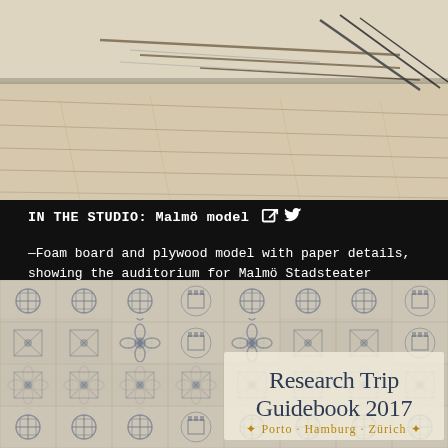[Figure (photo): Foam board and plywood model photographed from above showing flat surfaces and metal frame elements — studio model for Malmö Stadsteater auditorium]
IN THE STUDIO: Malmö model
—Foam board and plywood model with paper details, showing the auditorium for Malmö Stadsteater
[Figure (photo): Research Trip Guidebook 2017 cover image with decorative Portuguese tile pattern background, showing 'Research Trip Guidebook 2017' with subtitle '+ Porto · Hamburg · Zürich +']